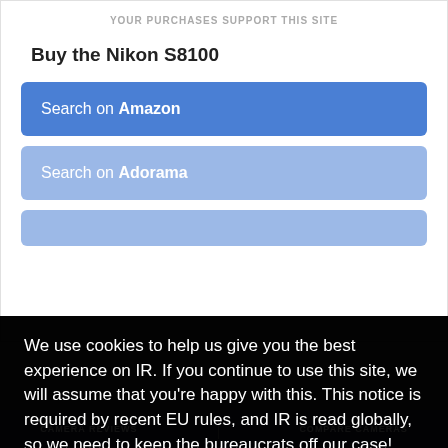YOUR PURCHASES SUPPORT THIS SITE
Buy the Nikon S8100
Search on Amazon
Search on Adorama
We use cookies to help us give you the best experience on IR. If you continue to use this site, we will assume that you're happy with this. This notice is required by recent EU rules, and IR is read globally, so we need to keep the bureaucrats off our case!
Learn more
Got it!
CAMERA REVIEWS   COMPARE CAMERAS